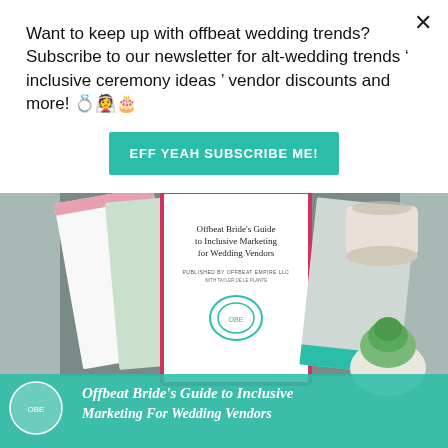Want to keep up with offbeat wedding trends?Subscribe to our newsletter for alt-wedding trends ✦ inclusive ceremony ideas ✦ vendor discounts and more! 💍👰🎂
EFF YEAH SUBSCRIBE ME!
[Figure (photo): Photo of Offbeat Bride's Guide to Inclusive Marketing for Wedding Vendors book/guide covers fanned out on a light green surface, with a succulent plant and a white cup in the background. The central cover is white with a pink border showing the title 'Offbeat Bride's Guide to Inclusive Marketing for Wedding Vendors, Published by Offbeat Empire LLC with Tayler de le Plante'.]
Offbeat Bride's Guide to Inclusive Marketing For Wedding Vendors